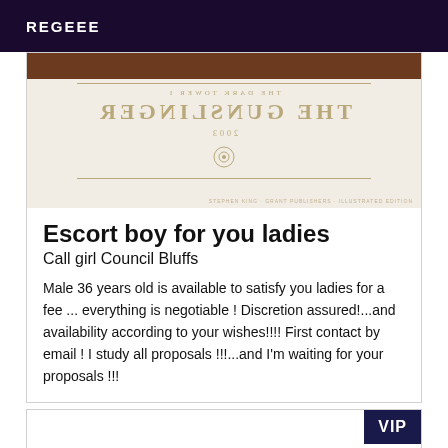REGEEE
[Figure (photo): Book cover shown upside-down/mirrored. The Gunslinger - The Dark Tower I, 2003, with ornamental emblem and decorative border.]
Escort boy for you ladies
Call girl Council Bluffs
Male 36 years old is available to satisfy you ladies for a fee ... everything is negotiable ! Discretion assured!...and availability according to your wishes!!!! First contact by email ! I study all proposals !!!...and I'm waiting for your proposals !!!
[Figure (other): Second listing card with VIP badge in upper right corner, content area mostly empty/white.]